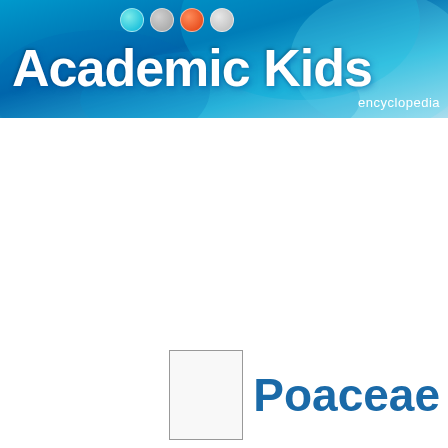[Figure (logo): Academic Kids encyclopedia header banner with blue gradient background, colored dots (teal, gray, orange, silver), bold white 'Academic Kids' title text, and 'encyclopedia' label in white at lower right]
Poaceae